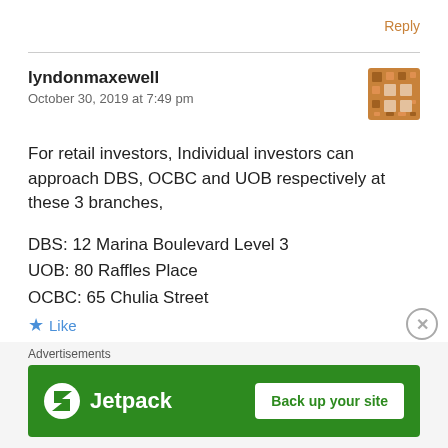Reply
lyndonmaxewell
October 30, 2019 at 7:49 pm
For retail investors, Individual investors can approach DBS, OCBC and UOB respectively at these 3 branches,

DBS: 12 Marina Boulevard Level 3
UOB: 80 Raffles Place
OCBC: 65 Chulia Street
Advertisements
Jetpack — Back up your site